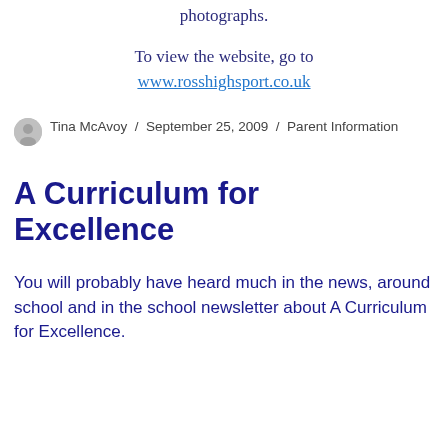photographs.
To view the website, go to www.rosshighsport.co.uk
Tina McAvoy / September 25, 2009 / Parent Information
A Curriculum for Excellence
You will probably have heard much in the news, around school and in the school newsletter about A Curriculum for Excellence.